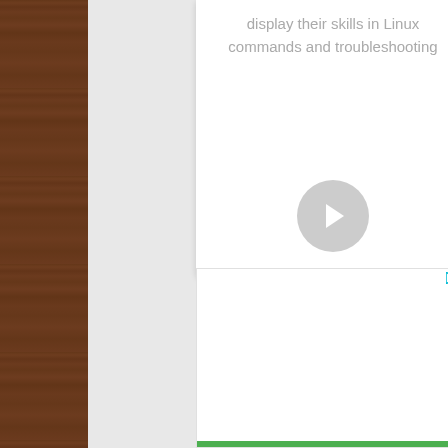[Figure (screenshot): Wood texture sidebar on the left side of the page]
display their skills in Linux commands and troubleshooting
[Figure (illustration): Gray circular button with a right-pointing chevron/arrow icon]
[Figure (screenshot): Advertisement placeholder card with play and close (x) icons in teal color at top right, white background, and a green bar at the bottom]